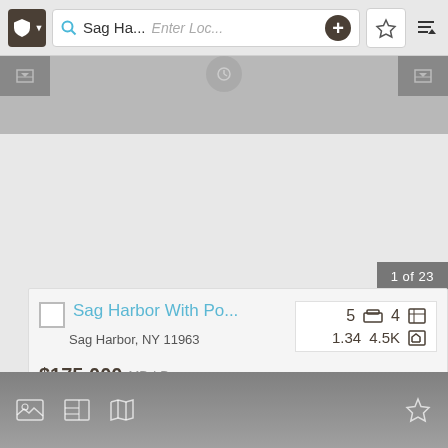[Figure (screenshot): App top search bar with shield icon, search field showing 'Sag Ha...' and 'Enter Loc...' placeholder, plus button, star button, and sort icon]
[Figure (screenshot): Grey image strip with two grey tab buttons on sides and a circular icon in the center]
1 of 23
Sag Harbor With Po...
Sag Harbor, NY 11963
5 [bed icon] 4 [bath icon]
1.34  4.5K [area icon]
$175,000 MD-LD
[Figure (screenshot): Bottom dark grey navigation strip with photo, floorplan, map icons on left and star icon on right]